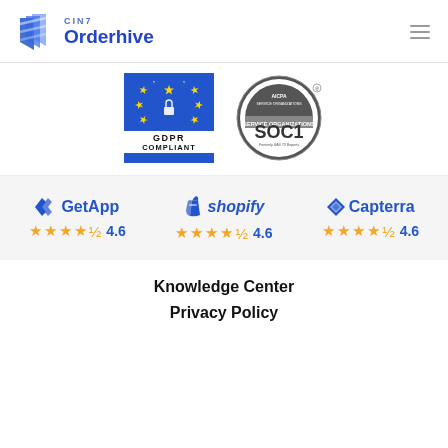[Figure (logo): CIN7 Orderhive logo with geometric blue shield/arrow icon, company name in blue]
[Figure (infographic): GDPR Compliant badge (blue EU flag with stars, white text) and AICPA SOC1 Service Organizations certification seal]
[Figure (infographic): Three review platform ratings: GetApp 4.6 stars, Shopify 4.6 stars, Capterra 4.6 stars, each with 4.5-star icon display]
Knowledge Center
Privacy Policy